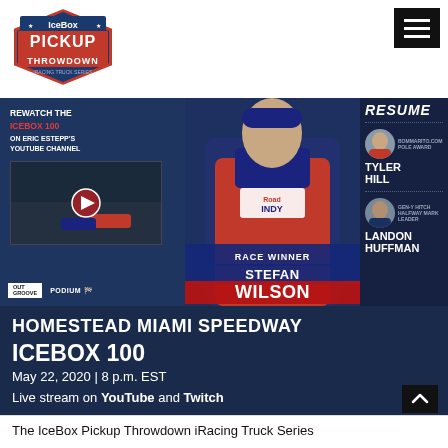[Figure (logo): IceBox Pickup Throwdown iRacing Truck Series logo — red and blue badge/shield shape]
[Figure (screenshot): Website screenshot banner showing race results: left panel rewatch Icebox 100 on Eric Estepp's YouTube Channel with thumbnail, center panel Race Winner Stefan Wilson, right panel RESUME with Bommarito.com Pole Award Tyler Hill and Gen-Y Hitch Halfway Mark Leader Landon Huffman]
HOMESTEAD MIAMI SPEEDWAY
ICEBOX 100
May 22, 2020 | 8 p.m. EST
Live stream on YouTube and Twitch
The IceBox Pickup Throwdown iRacing Truck Series